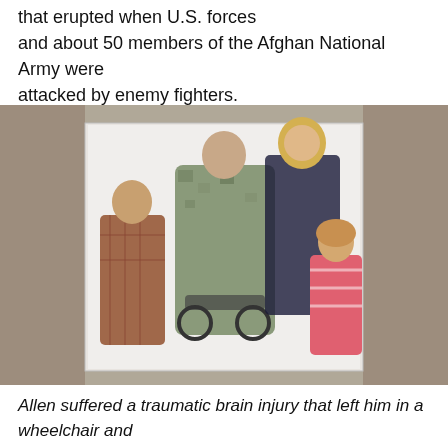that erupted when U.S. forces and about 50 members of the Afghan National Army were attacked by enemy fighters.
[Figure (photo): A soldier in military camouflage uniform seated in a wheelchair, surrounded by his family: a teenage boy on the left in a plaid shirt, a woman standing behind with blonde hair, and a young girl on the right in a pink striped dress. The background is blurred on the sides.]
Allen suffered a traumatic brain injury that left him in a wheelchair and unable to communicate. His wife, Shannon Allen, told WSB Radio that she did not